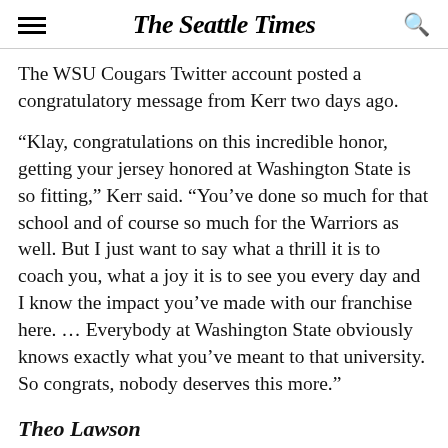The Seattle Times
The WSU Cougars Twitter account posted a congratulatory message from Kerr two days ago.
“Klay, congratulations on this incredible honor, getting your jersey honored at Washington State is so fitting,” Kerr said. “You’ve done so much for that school and of course so much for the Warriors as well. But I just want to say what a thrill it is to coach you, what a joy it is to see you every day and I know the impact you’ve made with our franchise here. … Everybody at Washington State obviously knows exactly what you’ve meant to that university. So congrats, nobody deserves this more.”
Theo Lawson